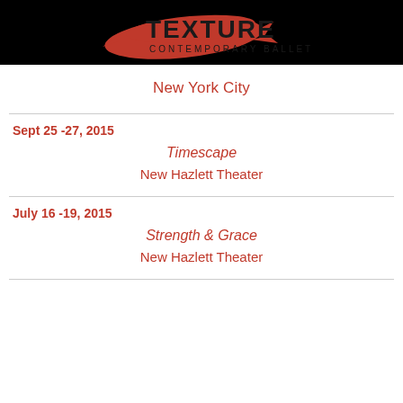[Figure (logo): Texture Contemporary Ballet logo — red brushstroke shape with TEXTURE in bold black text and CONTEMPORARY BALLET beneath, on a black background]
New York City
Sept 25 -27, 2015
Timescape
New Hazlett Theater
July 16 -19, 2015
Strength & Grace
New Hazlett Theater